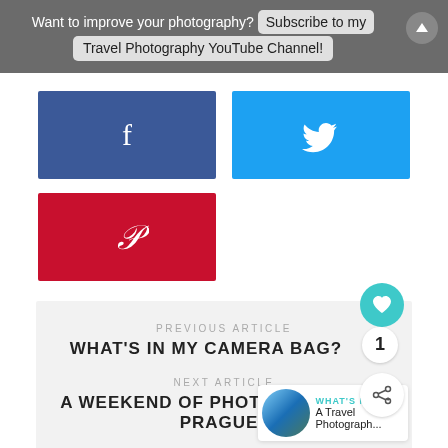Want to improve your photography? Subscribe to my Travel Photography YouTube Channel!
[Figure (other): Facebook share button (blue)]
[Figure (other): Twitter share button (light blue)]
[Figure (other): Pinterest share button (red)]
PREVIOUS ARTICLE
WHAT'S IN MY CAMERA BAG?
NEXT ARTICLE
A WEEKEND OF PHOTOGRAPHY IN PRAGUE
WHAT'S NEXT → A Travel Photograph...
ONE RESPONSE